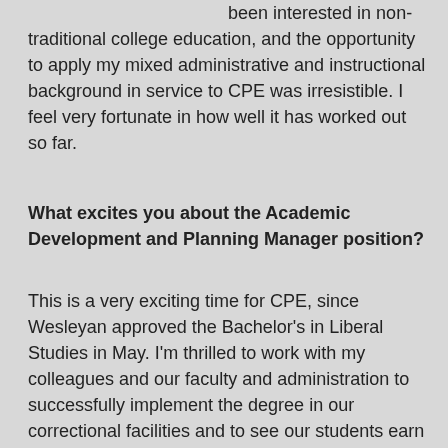populations. I have long been interested in non-traditional college education, and the opportunity to apply my mixed administrative and instructional background in service to CPE was irresistible. I feel very fortunate in how well it has worked out so far.
What excites you about the Academic Development and Planning Manager position?
This is a very exciting time for CPE, since Wesleyan approved the Bachelor's in Liberal Studies in May. I'm thrilled to work with my colleagues and our faculty and administration to successfully implement the degree in our correctional facilities and to see our students earn a Wesleyan Bachelor's degree. I am also excited to become increasingly engaged with the Wesleyan community as CPE continues to grow.